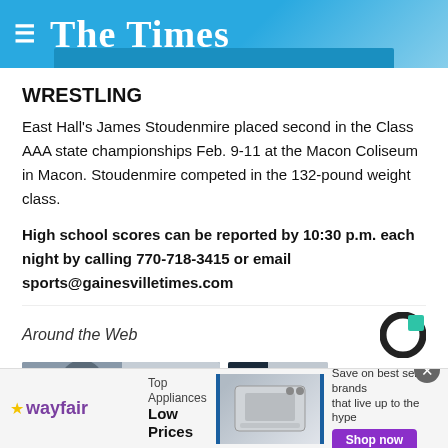The Times
WRESTLING
East Hall's James Stoudenmire placed second in the Class AAA state championships Feb. 9-11 at the Macon Coliseum in Macon. Stoudenmire competed in the 132-pound weight class.
High school scores can be reported by 10:30 p.m. each night by calling 770-718-3415 or email sports@gainesvilletimes.com
Around the Web
[Figure (logo): Colossus/Taboola logo - circular C shape in teal and dark]
[Figure (photo): Thumbnail image of person, partially visible]
[Figure (photo): Thumbnail image, dark background]
[Figure (screenshot): Wayfair advertisement banner - Top Appliances Low Prices, Shop now button]